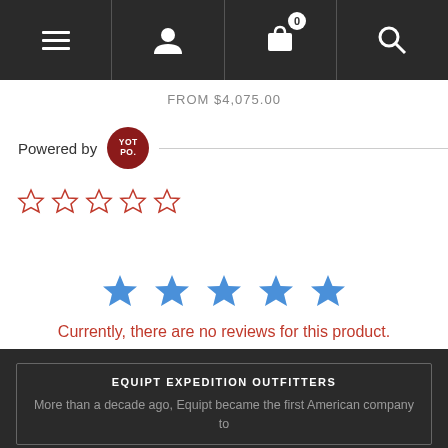Navigation bar with menu, user, cart (0), and search icons
FROM $4,075.00
Powered by YOTPO
[Figure (other): Five empty star rating icons in red/outline style]
[Figure (other): Five filled blue star rating icons]
Currently, there are no reviews for this product.
EQUIPT EXPEDITION OUTFITTERS
More than a decade ago, Equipt became the first American company to